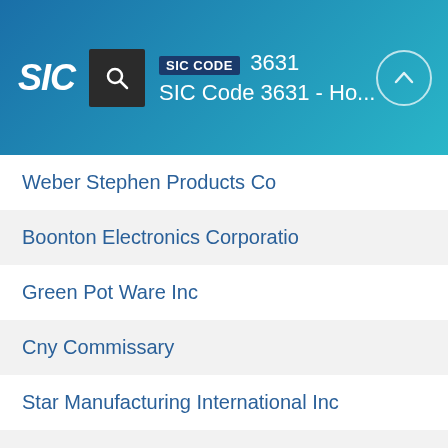SIC CODE 3631 | SIC Code 3631 - Ho...
Weber Stephen Products Co
Boonton Electronics Corporatio
Green Pot Ware Inc
Cny Commissary
Star Manufacturing International Inc
Cutright Co
4thegrill.Com llc
Cheddar Bean BBQ